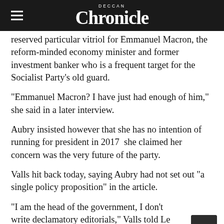Deccan Chronicle
reserved particular vitriol for Emmanuel Macron, the reform-minded economy minister and former investment banker who is a frequent target for the Socialist Party's old guard.
"Emmanuel Macron? I have just had enough of him," she said in a later interview.
Aubry insisted however that she has no intention of running for president in 2017  she claimed her concern was the very future of the party.
Valls hit back today, saying Aubry had not set out "a single policy proposition" in the article.
"I am the head of the government, I don't write declamatory editorials," Valls told Le Monde.